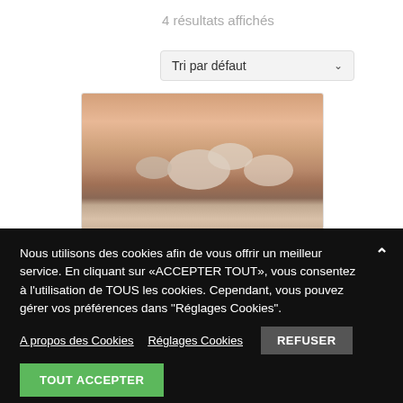4 résultats affichés
[Figure (screenshot): Sort dropdown selector showing 'Tri par défaut' with chevron]
[Figure (photo): Product card showing a photo of clouds against a pinkish sunset sky]
Nous utilisons des cookies afin de vous offrir un meilleur service. En cliquant sur «ACCEPTER TOUT», vous consentez à l'utilisation de TOUS les cookies. Cependant, vous pouvez gérer vos préférences dans "Réglages Cookies".
A propos des Cookies   Réglages Cookies   REFUSER
TOUT ACCEPTER